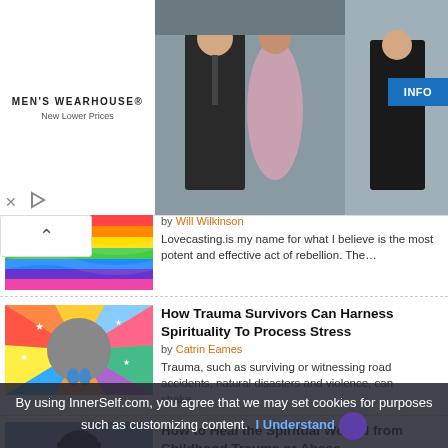[Figure (photo): Men's Wearhouse advertisement banner showing a couple in formal wear and a man in a suit, with INFO button]
by Will Wilkinson
Lovecasting.is my name for what I believe is the most potent and effective act of rebellion. The…
[Figure (photo): Colorful chalk art on ground with person's feet in blue shoes standing in a circle]
How Trauma Survivors Can Harness Spirituality To Process Stress
by Catrin Eames
Trauma, such as surviving or witnessing road accidents, natural disasters and violence, can shake…
[Figure (photo): Person in dark hoodie and hat viewed from behind against sky]
How to Heal the Spiritual Wound from Childhood Trauma or Abuse
Children raised in homes with
By using InnerSelf.com, you agree that we may set cookies for purposes such as customizing content. I Understand